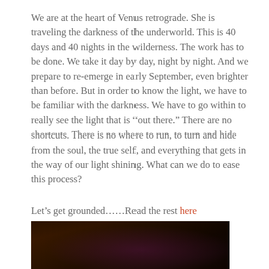We are at the heart of Venus retrograde. She is traveling the darkness of the underworld. This is 40 days and 40 nights in the wilderness. The work has to be done. We take it day by day, night by night. And we prepare to re-emerge in early September, even brighter than before. But in order to know the light, we have to be familiar with the darkness. We have to go within to really see the light that is “out there.” There are no shortcuts. There is no where to run, to turn and hide from the soul, the true self, and everything that gets in the way of our light shining. What can we do to ease this process?
Let’s get grounded.....Read the rest here
[Figure (photo): A dark, dimly lit photograph showing a dark interior with reddish-purple tones, taken at low light conditions.]